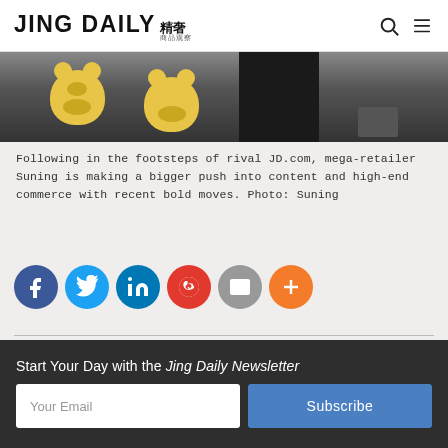JING DAILY 精奢
[Figure (photo): Photo showing stuffed yellow bear mascots and a dark-clothed figure in what appears to be a retail/warehouse setting]
Following in the footsteps of rival JD.com, mega-retailer Suning is making a bigger push into content and high-end commerce with recent bold moves. Photo: Suning
[Figure (infographic): Social sharing icons row: Facebook (blue), Twitter (light blue), LinkedIn (dark blue), Weibo (red), Email (grey), More/Plus (orange)]
This post originally appeared on Content Commerce Insider, our sister publication on branded entertainment.
Following in the footsteps of rival JD.com, mega-retailer
Start Your Day with the Jing Daily Newsletter
Your Email
Subscribe